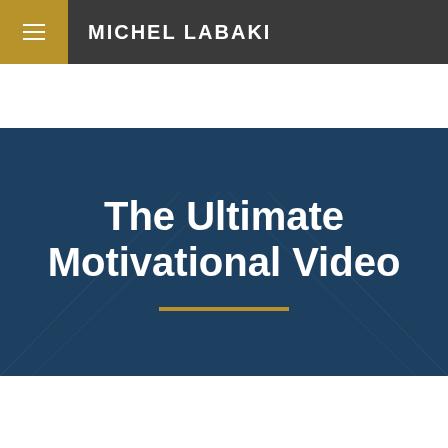MICHEL LABAKI
The Ultimate Motivational Video
[Figure (screenshot): YouTube embedded video thumbnail showing 'The Ultimate Motivational Video - ...' with a channel avatar, video title bar, and a play button over a dark cinematic background depicting a Roman-era figure.]